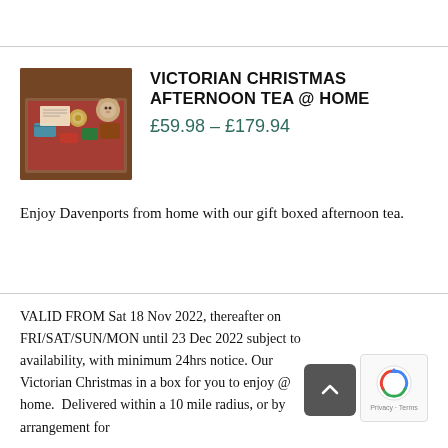[Figure (photo): A gift box of Victorian Christmas afternoon tea items including small tins, decorations, and treats arranged in a box with warm tones.]
VICTORIAN CHRISTMAS AFTERNOON TEA @ HOME
£59.98 – £179.94
Enjoy Davenports from home with our gift boxed afternoon tea.
VALID FROM Sat 18 Nov 2022, thereafter on FRI/SAT/SUN/MON until 23 Dec 2022 subject to availability, with minimum 24hrs notice. Our Victorian Christmas in a box for you to enjoy @ home.  Delivered within a 10 mile radius, or by arrangement for